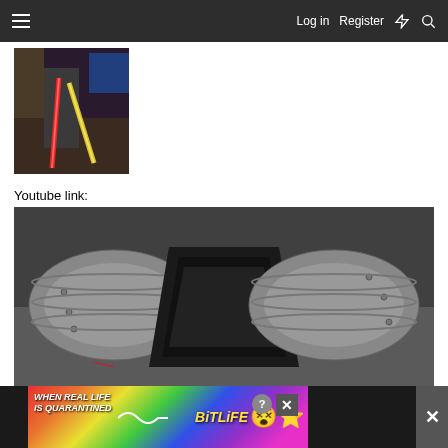Log in  Register
[Figure (photo): Person holding red and yellow lightsabers in a room]
Youtube link:
[Figure (photo): Silver metallic armor piece with rivets, laid on a dark fabric surface, showing hollow interior]
[Figure (photo): Advertisement banner: WHEN REAL LIFE IS QUARANTINED - BitLife app ad with rainbow background and emoji]